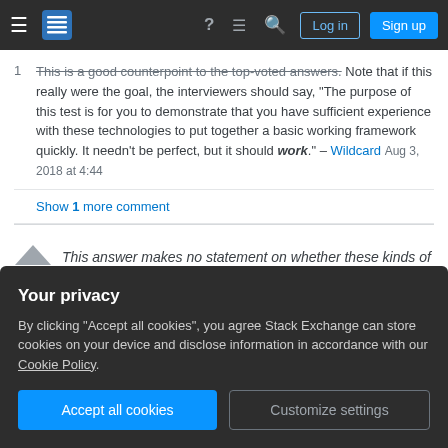Stack Exchange navigation bar with hamburger menu, logo, help, chat, search icons, Log in and Sign up buttons
This is a good counterpoint to the top-voted answers. Note that if this really were the goal, the interviewers should say, "The purpose of this test is for you to demonstrate that you have sufficient experience with these technologies to put together a basic working framework quickly. It needn't be perfect, but it should work." – Wildcard Aug 3, 2018 at 4:44
Show 1 more comment
This answer makes no statement on whether these kinds of tests are a good thing or not (or whether I condone them), but focuses on the specific
Your privacy
By clicking "Accept all cookies", you agree Stack Exchange can store cookies on your device and disclose information in accordance with our Cookie Policy.
Accept all cookies
Customize settings
time limit in the future.